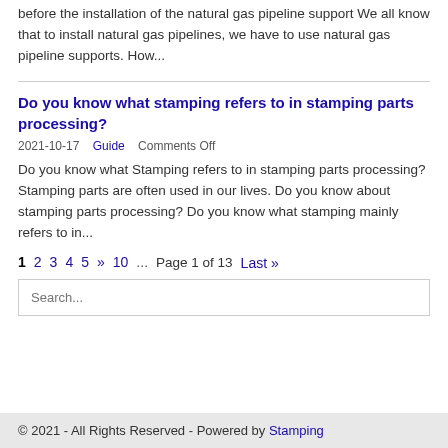before the installation of the natural gas pipeline support We all know that to install natural gas pipelines, we have to use natural gas pipeline supports. How...
Do you know what stamping refers to in stamping parts processing?
2021-10-17    Guide    Comments Off
Do you know what Stamping refers to in stamping parts processing? Stamping parts are often used in our lives. Do you know about stamping parts processing? Do you know what stamping mainly refers to in...
1  2  3  4  5  »  10  ...  Page 1 of 13
Last »
Search...
© 2021 - All Rights Reserved - Powered by Stamping